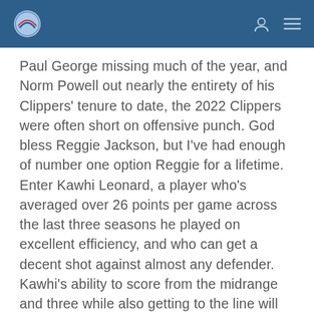[Logo] [User icon] [Menu icon]
Paul George missing much of the year, and Norm Powell out nearly the entirety of his Clippers' tenure to date, the 2022 Clippers were often short on offensive punch. God bless Reggie Jackson, but I've had enough of number one option Reggie for a lifetime. Enter Kawhi Leonard, a player who's averaged over 26 points per game across the last three seasons he played on excellent efficiency, and who can get a decent shot against almost any defender. Kawhi's ability to score from the midrange and three while also getting to the line will boost the Clippers' offense by a massive margin, hopefully back to the top 5 realm of the 2020 and 2021